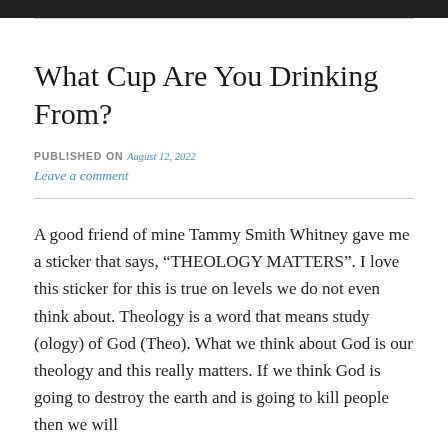What Cup Are You Drinking From?
PUBLISHED ON August 12, 2022
Leave a comment
A good friend of mine Tammy Smith Whitney gave me a sticker that says, “THEOLOGY MATTERS”. I love this sticker for this is true on levels we do not even think about. Theology is a word that means study (ology) of God (Theo). What we think about God is our theology and this really matters. If we think God is going to destroy the earth and is going to kill people then we will